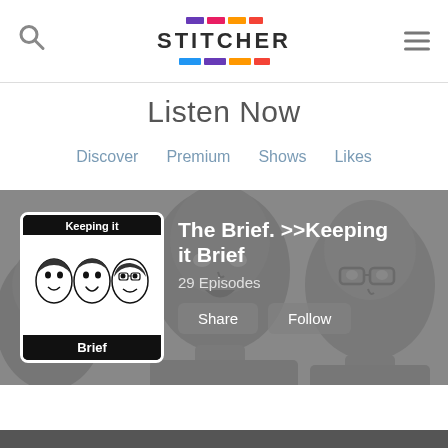Stitcher
Listen Now
Discover   Premium   Shows   Likes
[Figure (screenshot): Podcast banner for 'The Brief. >>Keeping it Brief' with greyscale illustrated faces of three men in the background. Shows podcast thumbnail on left (black background with text 'Keeping it' at top, three cartoon faces in middle, 'Brief' at bottom). Podcast info on right shows title, 29 Episodes, Share and Follow buttons.]
The Brief. >>Keeping it Brief
29 Episodes